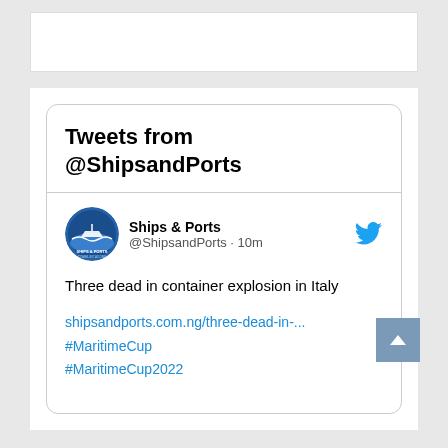[Figure (screenshot): Top white browser/app header bar area]
Tweets from @ShipsandPorts
[Figure (logo): Ships & Ports circular logo with ship and waves]
Ships & Ports @ShipsandPorts · 10m
Three dead in container explosion in Italy
shipsandports.com.ng/three-dead-in-... #MaritimeCup #MaritimeCup2022